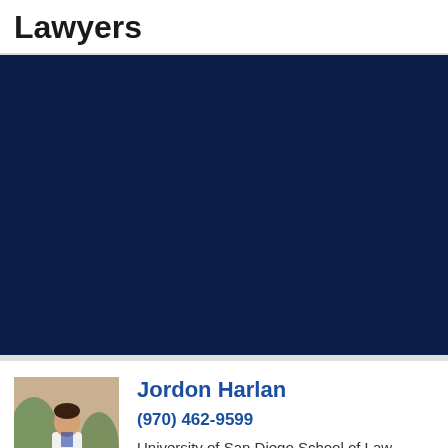Lawyers
[Figure (photo): Dark navy blue banner/advertisement image]
Jordon Harlan
(970) 462-9599
University of San Diego School of Law